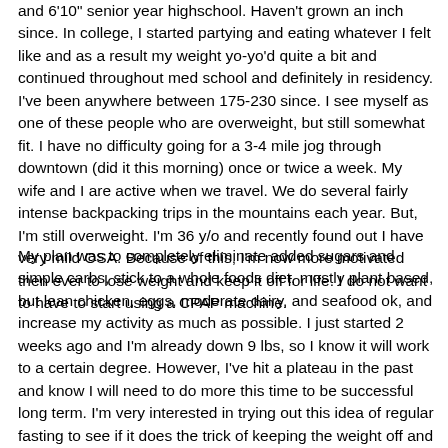and 6'10" senior year highschool. Haven't grown an inch since. In college, I started partying and eating whatever I felt like and as a result my weight yo-yo'd quite a bit and continued throughout med school and definitely in residency. I've been anywhere between 175-230 since. I see myself as one of these people who are overweight, but still somewhat fit. I have no difficulty going for a 3-4 mile jog through downtown (did it this morning) once or twice a week. My wife and I are active when we travel. We do several fairly intense backpacking trips in the mountains each year. But, I'm still overweight. I'm 36 y/o and recently found out I have very mild OSA. Because of this, I'm now more motivated then ever to lose weight and keep it off for life. I do not want to have to start using a CPAP machine.
My plan was to completely eliminate added sugars and simple carbs, stick to a whole foods diet, mostly plant based, but lean chicken, eggs, moderate dairy, and seafood ok, and increase my activity as much as possible. I just started 2 weeks ago and I'm already down 9 lbs, so I know it will work to a certain degree. However, I've hit a plateau in the past and know I will need to do more this time to be successful long term. I'm very interested in trying out this idea of regular fasting to see if it does the trick of keeping the weight off and let's me push through the plateau when I get to it. I've had lot's of bad habits over the years, but snacking at night is probably the worst. If nothing else the fasting should help me